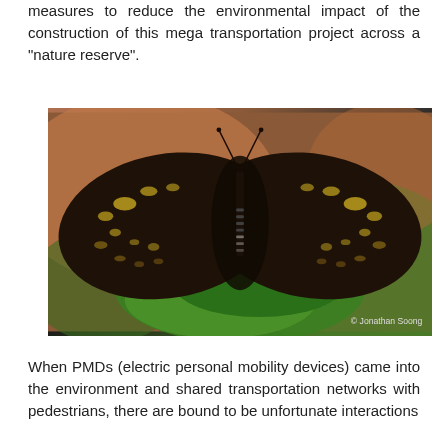measures to reduce the environmental impact of the construction of this mega transportation project across a "nature reserve".
[Figure (photo): A dark brown butterfly with yellow spots resting on a green leaf, photographed by Jonathan Soong.]
When PMDs (electric personal mobility devices) came into the environment and shared transportation networks with pedestrians, there are bound to be unfortunate interactions